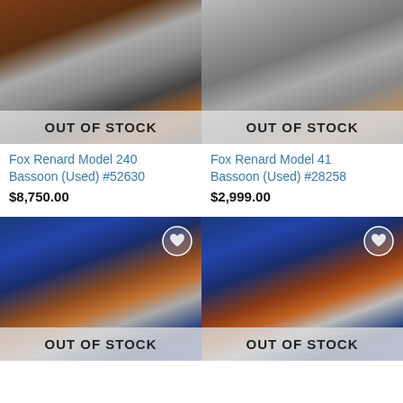[Figure (photo): Fox Renard Model 240 Bassoon in black case, out of stock overlay]
[Figure (photo): Fox Renard Model 41 Bassoon in black case, out of stock overlay]
Fox Renard Model 240 Bassoon (Used) #52630
$8,750.00
Fox Renard Model 41 Bassoon (Used) #28258
$2,999.00
[Figure (photo): Bassoon in blue velvet case with heart/wishlist button, out of stock overlay]
[Figure (photo): Bassoon in blue velvet case with heart/wishlist button, out of stock overlay]